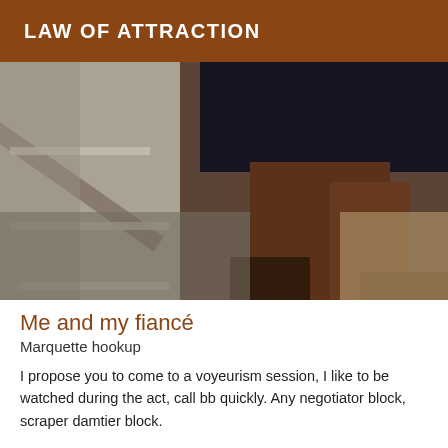LAW OF ATTRACTION
[Figure (photo): A close-up photo of a person's legs wearing dark shorts, taken from a low angle on what appears to be stairs or a ramp with a handrail visible.]
Me and my fiancé
Marquette hookup
I propose you to come to a voyeurism session, I like to be watched during the act, call bb quickly. Any negotiator block, scraper damtier block.